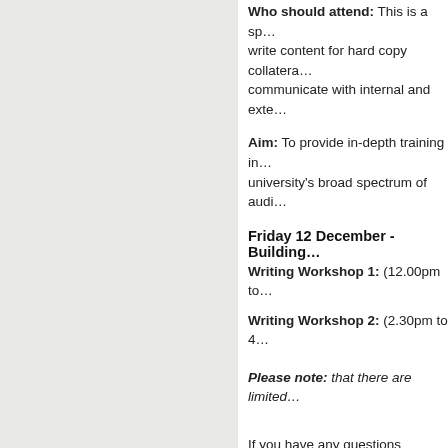Who should attend: This is a spe… write content for hard copy collateral… communicate with internal and exte…
Aim: To provide in-depth training in… university's broad spectrum of audi…
Friday 12 December - Building…
Writing Workshop 1: (12.00pm to …
Writing Workshop 2: (2.30pm to 4…
Please note: that there are limited…
If you have any questions regarding…
Brian Seeto
T: 9850 6305
E: brian.seeto@mq.edu.au